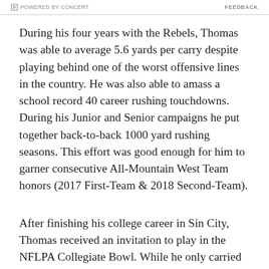POWERED BY CONCERT   FEEDBACK
During his four years with the Rebels, Thomas was able to average 5.6 yards per carry despite playing behind one of the worst offensive lines in the country. He was also able to amass a school record 40 career rushing touchdowns. During his Junior and Senior campaigns he put together back-to-back 1000 yard rushing seasons. This effort was good enough for him to garner consecutive All-Mountain West Team honors (2017 First-Team & 2018 Second-Team).
After finishing his college career in Sin City, Thomas received an invitation to play in the NFLPA Collegiate Bowl. While he only carried the rock five times in the contest, he made the most of his opportunities by averaging 8 yards per run, including a 17 yard